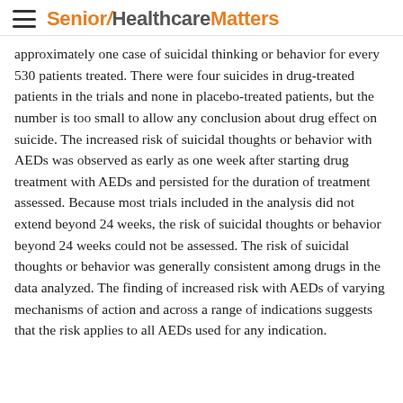Senior Healthcare Matters
approximately one case of suicidal thinking or behavior for every 530 patients treated. There were four suicides in drug-treated patients in the trials and none in placebo-treated patients, but the number is too small to allow any conclusion about drug effect on suicide. The increased risk of suicidal thoughts or behavior with AEDs was observed as early as one week after starting drug treatment with AEDs and persisted for the duration of treatment assessed. Because most trials included in the analysis did not extend beyond 24 weeks, the risk of suicidal thoughts or behavior beyond 24 weeks could not be assessed. The risk of suicidal thoughts or behavior was generally consistent among drugs in the data analyzed. The finding of increased risk with AEDs of varying mechanisms of action and across a range of indications suggests that the risk applies to all AEDs used for any indication.